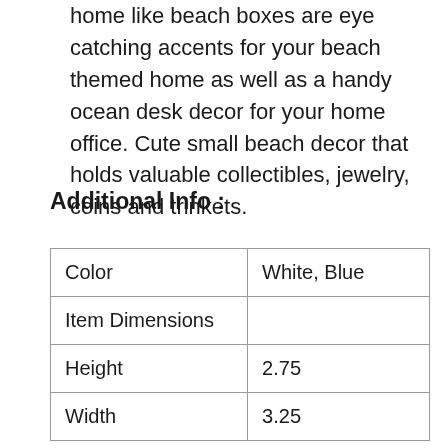home like beach boxes are eye catching accents for your beach themed home as well as a handy ocean desk decor for your home office. Cute small beach decor that holds valuable collectibles, jewelry, coins and trinkets.
Additional Info :
| Color | White, Blue |
| Item Dimensions |  |
| Height | 2.75 |
| Width | 3.25 |